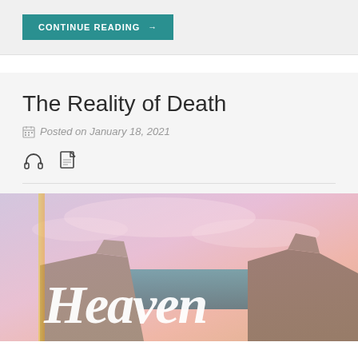CONTINUE READING →
The Reality of Death
Posted on January 18, 2021
[Figure (photo): Landscape photo of coastal cliffs with colorful sky overlay and 'Heaven' text written in white cursive script over the image]